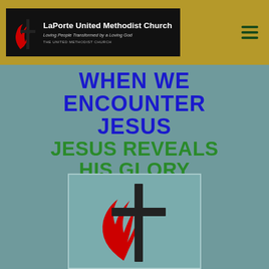LaPorte United Methodist Church — Loving People Transformed by a Loving God — THE UNITED METHODIST CHURCH
WHEN WE ENCOUNTER JESUS
JESUS REVEALS HIS GLORY
01/23/2022
[Figure (logo): United Methodist Church cross and flame logo — a large red flame on the left with a bold black cross on the right, set against a teal/grey background inside a light-bordered rectangle.]